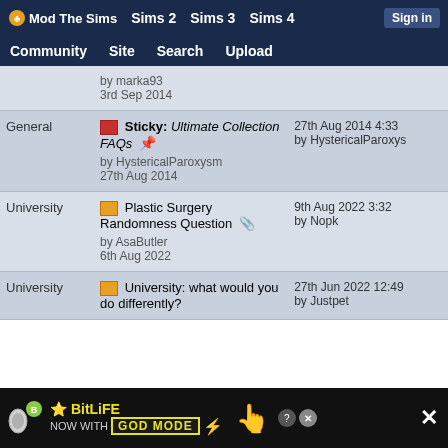Mod The Sims | Sims 2 | Sims 3 | Sims 4 | Sign in
Community | Site | Search | Upload
| Category | Thread | Last Post |
| --- | --- | --- |
|  | by marka93
3rd Sep 2014 |  |
| General | Sticky: Ultimate Collection FAQs
by HystericalParoxysm
27th Aug 2014 | 27th Aug 2014 4:33
by HystericalParoxys |
| University | Plastic Surgery Randomness Question
by AsaButler
6th Aug 2022 | 9th Aug 2022 3:32
by Nopk |
| University | University: what would you do differently? | 27th Jun 2022 12:49
by Justpet |
[Figure (screenshot): BitLife advertisement banner at the bottom: 'BitLife NOW WITH GOD MODE' with lightning bolt and pointing hand icon, close button (X) on right]